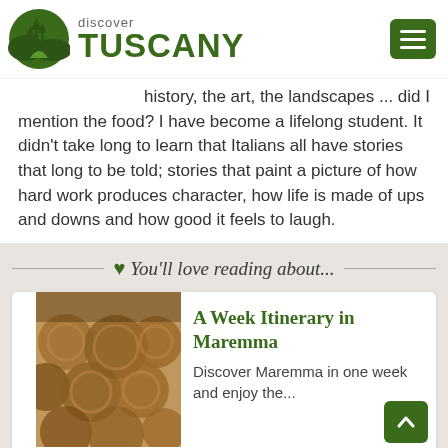[Figure (logo): Discover Tuscany logo with green landscape icon and text]
history, the art, the landscapes ... did I mention the food? I have become a lifelong student. It didn't take long to learn that Italians all have stories that long to be told; stories that paint a picture of how hard work produces character, how life is made of ups and downs and how good it feels to laugh.
♥ You'll love reading about...
[Figure (photo): Photo of straw bales or woven baskets in warm brown tones]
A Week Itinerary in Maremma
Discover Maremma in one week and enjoy the...